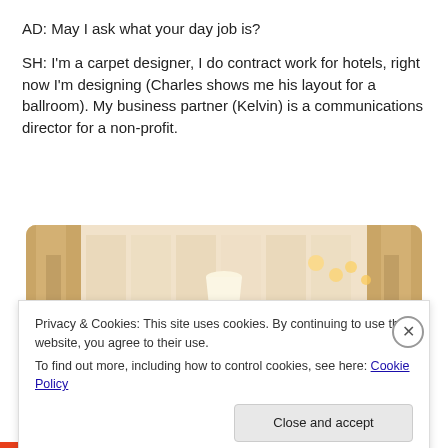AD: May I ask what your day job is?
SH: I'm a carpet designer, I do contract work for hotels, right now I'm designing (Charles shows me his layout for a ballroom). My business partner (Kelvin) is a communications director for a non-profit.
[Figure (photo): Interior of a hotel ballroom or event room with warm lighting, pendant lamps, draped curtains, and a warm amber-toned atmosphere.]
Privacy & Cookies: This site uses cookies. By continuing to use this website, you agree to their use.
To find out more, including how to control cookies, see here: Cookie Policy
Close and accept